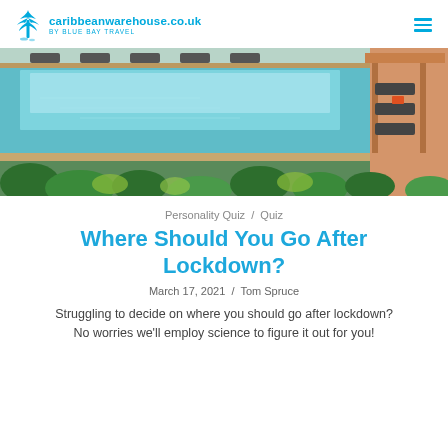caribbeanwarehouse.co.uk BY BLUE BAY TRAVEL
[Figure (photo): Outdoor resort swimming pool with lounge chairs, tropical plants, and a wooden pergola structure alongside clear turquoise water]
Personality Quiz / Quiz
Where Should You Go After Lockdown?
March 17, 2021 / Tom Spruce
Struggling to decide on where you should go after lockdown? No worries we'll employ science to figure it out for you!